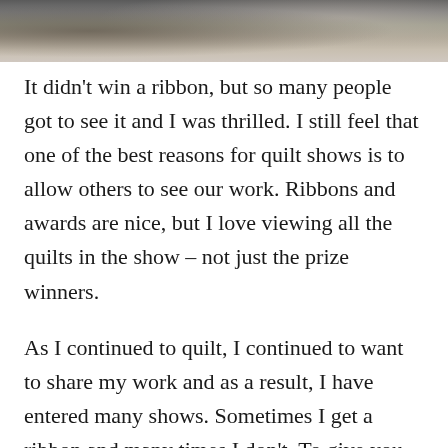[Figure (photo): Partial photograph at top of page, showing a dark and light toned image, cropped at the bottom edge]
It didn't win a ribbon, but so many people got to see it and I was thrilled. I still feel that one of the best reasons for quilt shows is to allow others to see our work. Ribbons and awards are nice, but I love viewing all the quilts in the show – not just the prize winners.
As I continued to quilt, I continued to want to share my work and as a result, I have entered many shows. Sometimes I get a ribbon and many times I don't. To give you an idea of how